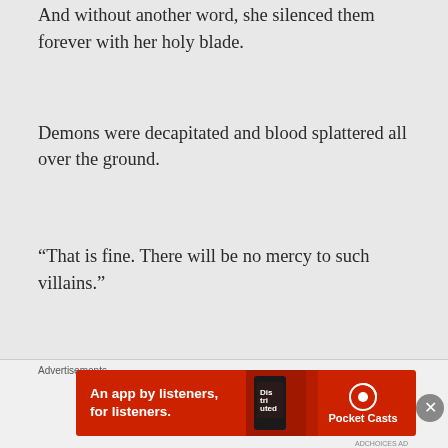And without another word, she silenced them forever with her holy blade.
Demons were decapitated and blood splattered all over the ground.
“That is fine. There will be no mercy to such villains.”
Advertisements
[Figure (other): Red advertisement banner for Pocket Casts app reading 'An app by listeners, for listeners.' with app logo and phone graphic]